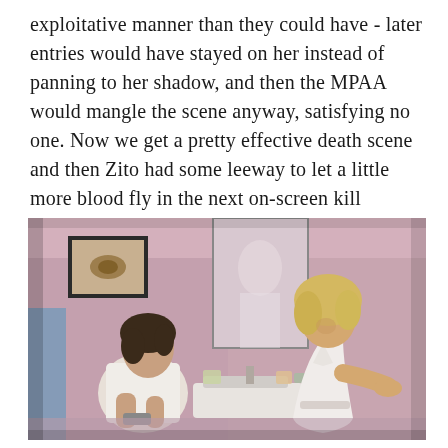exploitative manner than they could have - later entries would have stayed on her instead of panning to her shadow, and then the MPAA would mangle the scene anyway, satisfying no one. Now we get a pretty effective death scene and then Zito had some leeway to let a little more blood fly in the next on-screen kill (Jimmy's corkscrew/cleaver combo, as it turns out).
[Figure (photo): A film still showing two women in a pink bathroom. On the left, a dark-haired woman in a white top sits looking down at something in her hands. In the center background is a mirror reflecting a third figure. On the right, a blonde woman in a white satin robe stands at a sink.]